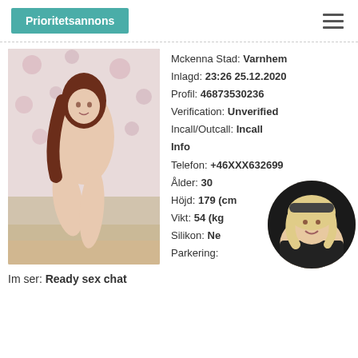Prioritetsannons
[Figure (photo): Main profile photo of a woman posing on a couch in front of floral wallpaper]
Mckenna Stad: Varnhem
Inlagd: 23:26 25.12.2020
Profil: 46873530236
Verification: Unverified
Incall/Outcall: Incall
Info
Telefon: +46XXX632699
Ålder: 30
Höjd: 179 (cm)
Vikt: 54 (kg)
Silikon: Nej
Parkering:
[Figure (photo): Circular thumbnail photo of a blonde woman smiling]
Im ser: Ready sex chat